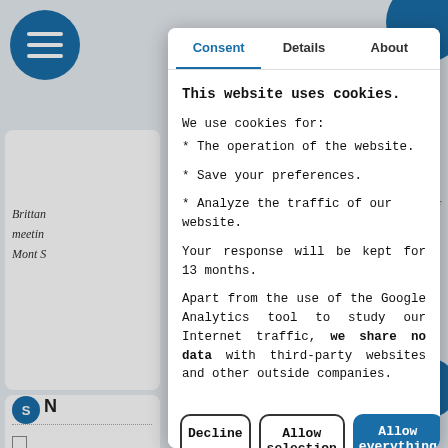[Figure (screenshot): Cookie consent modal dialog overlaid on a website page. The modal has three tabs: Consent (active, in blue), Details, and About. The body contains cookie usage information in monospace font. Three buttons at the bottom: Decline, Allow selection, Allow everything (blue).]
This website uses cookies.
We use cookies for:
* The operation of the website.
* Save your preferences.
* Analyze the traffic of our website.
Your response will be kept for 13 months.
Apart from the use of the Google Analytics tool to study our Internet traffic, we share no data with third-party websites and other outside companies.